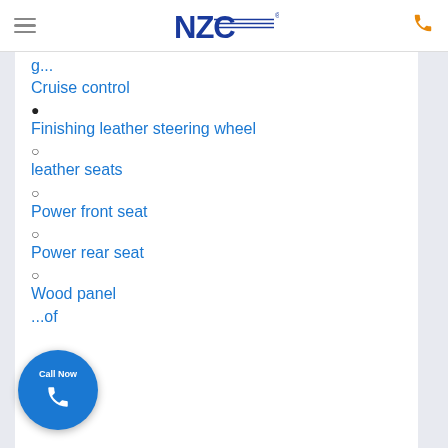NZC (logo)
Cruise control
Finishing leather steering wheel
leather seats
Power front seat
Power rear seat
Wood panel
...of